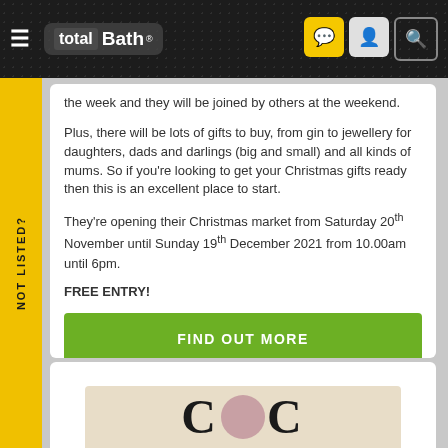total Bath ®
the week and they will be joined by others at the weekend.
Plus, there will be lots of gifts to buy, from gin to jewellery for daughters, dads and darlings (big and small) and all kinds of mums. So if you're looking to get your Christmas gifts ready then this is an excellent place to start.
They're opening their Christmas market from Saturday 20th November until Sunday 19th December 2021 from 10.00am until 6pm.
FREE ENTRY!
FIND OUT MORE
[Figure (screenshot): Bottom portion of another article card showing decorative logo text]